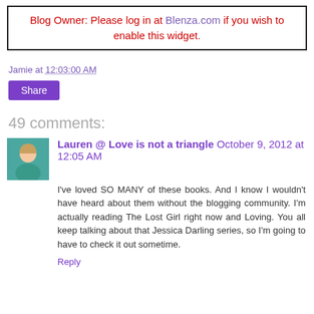Blog Owner: Please log in at Blenza.com if you wish to enable this widget.
Jamie at 12:03:00 AM
Share
49 comments:
Lauren @ Love is not a triangle  October 9, 2012 at 12:05 AM
I've loved SO MANY of these books. And I know I wouldn't have heard about them without the blogging community. I'm actually reading The Lost Girl right now and Loving. You all keep talking about that Jessica Darling series, so I'm going to have to check it out sometime.
Reply